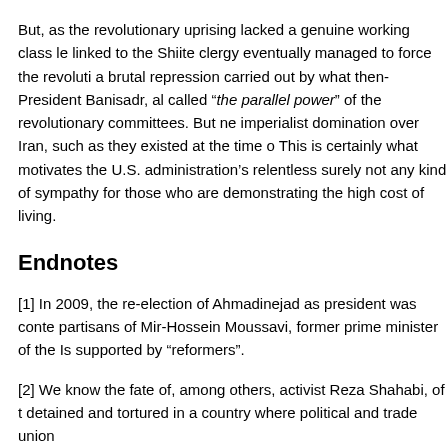But, as the revolutionary uprising lacked a genuine working class le linked to the Shiite clergy eventually managed to force the revoluti a brutal repression carried out by what then-President Banisadr, al called "the parallel power" of the revolutionary committees. But ne imperialist domination over Iran, such as they existed at the time o This is certainly what motivates the U.S. administration's relentless surely not any kind of sympathy for those who are demonstrating the high cost of living.
Endnotes
[1] In 2009, the re-election of Ahmadinejad as president was conte partisans of Mir-Hossein Moussavi, former prime minister of the Is supported by "reformers".
[2] We know the fate of, among others, activist Reza Shahabi, of t detained and tortured in a country where political and trade union
[3] Mullah: member of the Shiite clergy.